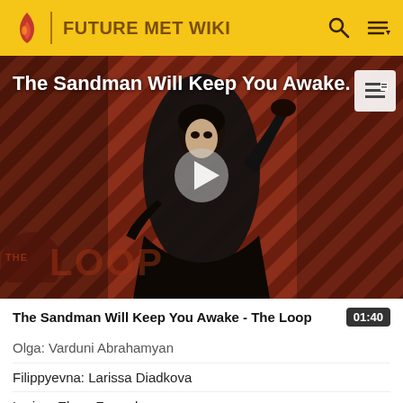FUTURE MET WIKI
[Figure (screenshot): Video thumbnail showing a figure in a dark cape against a diagonal red/brown striped background. Title overlay reads 'The Sandman Will Keep You Awake.' with THE LOOP watermark in bottom left. Play button in center.]
The Sandman Will Keep You Awake - The Loop
Olga: Varduni Abrahamyan
Filippyevna: Larissa Diadkova
Larina: Elena Zaremba
Lenski: Piotr Beczała